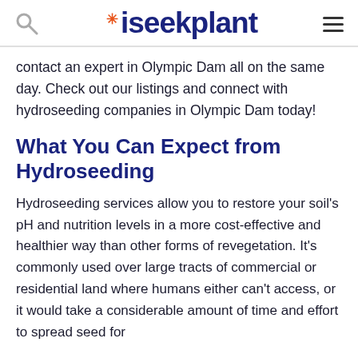iseekplant
contact an expert in Olympic Dam all on the same day. Check out our listings and connect with hydroseeding companies in Olympic Dam today!
What You Can Expect from Hydroseeding
Hydroseeding services allow you to restore your soil's pH and nutrition levels in a more cost-effective and healthier way than other forms of revegetation. It's commonly used over large tracts of commercial or residential land where humans either can't access, or it would take a considerable amount of time and effort to spread seed for